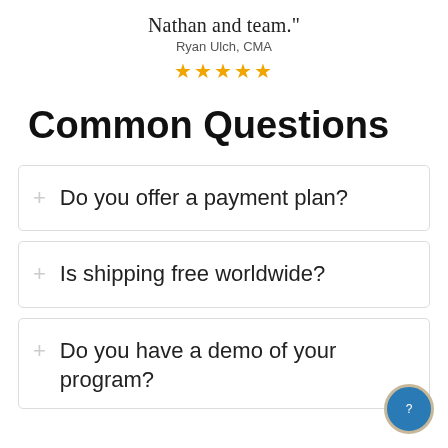Nathan and team."
Ryan Ulch, CMA
★★★★★
Common Questions
+ Do you offer a payment plan?
+ Is shipping free worldwide?
+ Do you have a demo of your program?